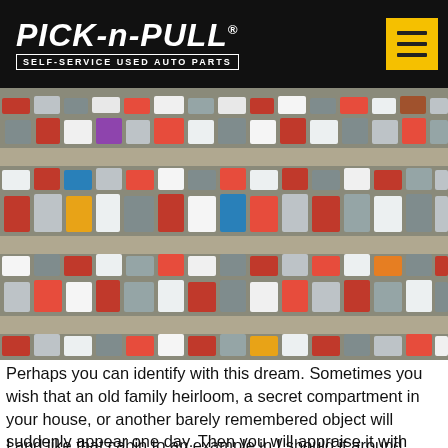PICK-n-PULL SELF-SERVICE USED AUTO PARTS
[Figure (photo): Aerial view of a large junkyard/salvage yard with hundreds of cars arranged in rows, viewed from above. Cars are densely packed in multiple long rows separated by dirt aisles.]
Perhaps you can identify with this dream. Sometimes you wish that an old family heirloom, a secret compartment in your house, or another barely remembered object will suddenly appear one day. Then you will appraise it with fresh eyes and realize that it actually has significant value, and you can use it to make your life just a little bit easier.
I and like that cabin to an example in I should it around